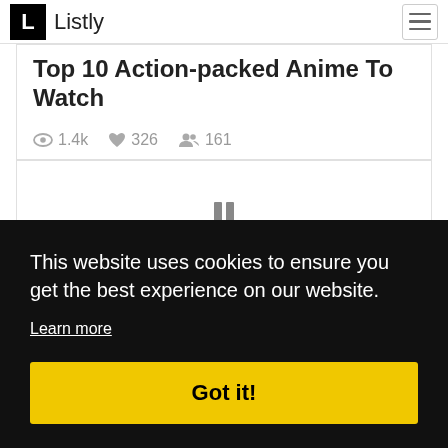L  Listly
Top 10 Action-packed Anime To Watch
1.4k  326  161
[Figure (other): Content area with pause/loading icon (two vertical bars)]
This website uses cookies to ensure you get the best experience on our website. Learn more
Got it!